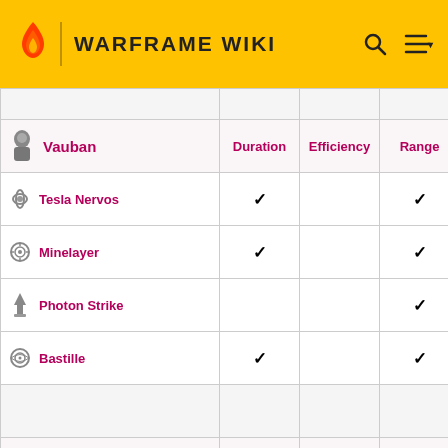WARFRAME WIKI
|  | Duration | Efficiency | Range |
| --- | --- | --- | --- |
| Vauban | Duration | Efficiency | Range |
| Tesla Nervos | ✓ |  | ✓ |
| Minelayer | ✓ |  | ✓ |
| Photon Strike |  |  | ✓ |
| Bastille | ✓ |  | ✓ |
|  |  |  |  |
| Volt | Duration | Efficiency | Range |
| Shock |  |  | ✓ |
| Speed | ✓ |  | ✓ |